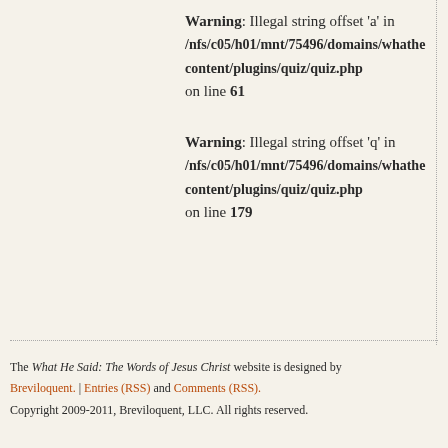Warning: Illegal string offset 'a' in /nfs/c05/h01/mnt/75496/domains/whathe content/plugins/quiz/quiz.php on line 61
Warning: Illegal string offset 'q' in /nfs/c05/h01/mnt/75496/domains/whathe content/plugins/quiz/quiz.php on line 179
The What He Said: The Words of Jesus Christ website is designed by Breviloquent. | Entries (RSS) and Comments (RSS). Copyright 2009-2011, Breviloquent, LLC. All rights reserved.